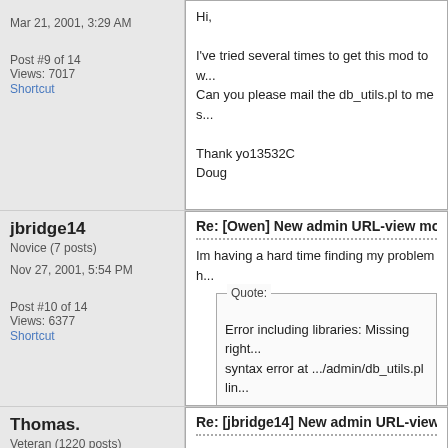Mar 21, 2001, 3:29 AM
Post #9 of 14
Views: 7017
Shortcut
Hi,

I've tried several times to get this mod to w...
Can you please mail the db_utils.pl to me s...

Thank yo13532C
Doug
jbridge14
Novice (7 posts)
Nov 27, 2001, 5:54 PM
Post #10 of 14
Views: 6377
Shortcut
Re: [Owen] New admin URL-view mod
Im having a hard time finding my problem h...
Quote:
Error including libraries: Missing right...
syntax error at .../admin/db_utils.pl lin...

Make sure they exist, permissions are...
Thomas.
Veteran (1220 posts)
Re: [jbridge14] New admin URL-view mod